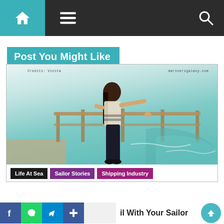Navigation bar with home, menu, and search icons
Post You Might Like
[Figure (photo): A woman standing on the deck of a ship at sea, holding a railing, with ocean waves visible in the background. Watermarks: 'Credits: Vinita' on left and 'marinersgalaxy.com' on right.]
Life At Sea   Sailor Stories   Shipping Industry
il With Your Sailor